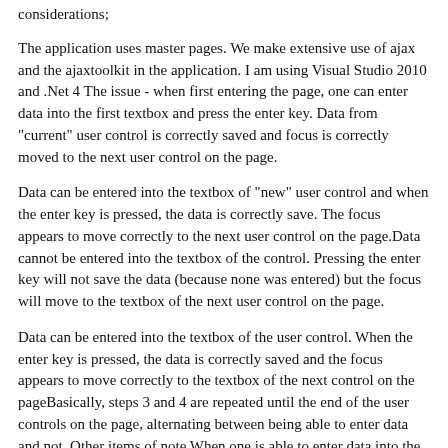considerations;
The application uses master pages. We make extensive use of ajax and the ajaxtoolkit in the application. I am using Visual Studio 2010 and .Net 4 The issue - when first entering the page, one can enter data into the first textbox and press the enter key. Data from "current" user control is correctly saved and focus is correctly moved to the next user control on the page.
Data can be entered into the textbox of "new" user control and when the enter key is pressed, the data is correctly save. The focus appears to move correctly to the next user control on the page.Data cannot be entered into the textbox of the control. Pressing the enter key will not save the data (because none was entered) but the focus will move to the textbox of the next user control on the page.
Data can be entered into the textbox of the user control. When the enter key is pressed, the data is correctly saved and the focus appears to move correctly to the textbox of the next control on the pageBasically, steps 3 and 4 are repeated until the end of the user controls on the page, alternating between being able to enter data and not. Other items of note When one is able to enter data into the textbox of a user control, one can correctly tab through the textboxes of each user control until the end of the page When one is not able to enter data into the textbox of a user control, pressing the tab key will move focus to the address bar of the browser.